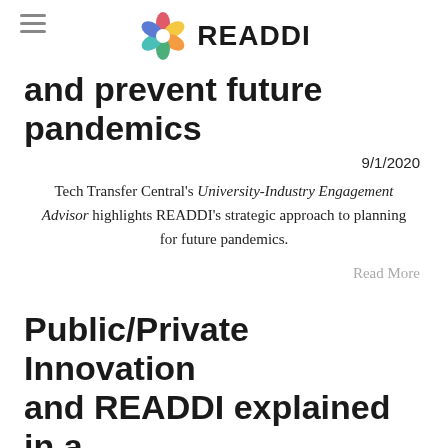READDI
and prevent future pandemics
9/1/2020
Tech Transfer Central's University-Industry Engagement Advisor highlights READDI's strategic approach to planning for future pandemics.
Read More
Public/Private Innovation and READDI explained in a